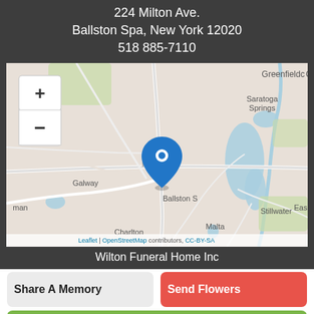224 Milton Ave.
Ballston Spa, New York 12020
518 885-7110
[Figure (map): Interactive map showing Ballston Spa, NY area with a blue location pin marker. Map shows surrounding areas including Saratoga Springs, Galway, Malta, Charlton, Stillwater, Greenfield. Map tiles from OpenStreetMap. Has zoom +/- controls in upper left. Attribution reads: Leaflet | OpenStreetMap contributors, CC-BY-SA]
Wilton Funeral Home Inc
Share A Memory
Send Flowers
Plant A Tree